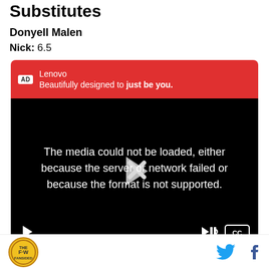Substitutes
Donyell Malen
Nick: 6.5
[Figure (screenshot): Embedded video player with Lenovo ad banner showing 'Beautifully designed to just be you.' in red, and video error message: 'The media could not be loaded, either because the server or network failed or because the format is not supported.' with playback controls at bottom.]
[Figure (logo): Circular yellow badge logo and social media icons (Twitter, Facebook) in the footer bar.]